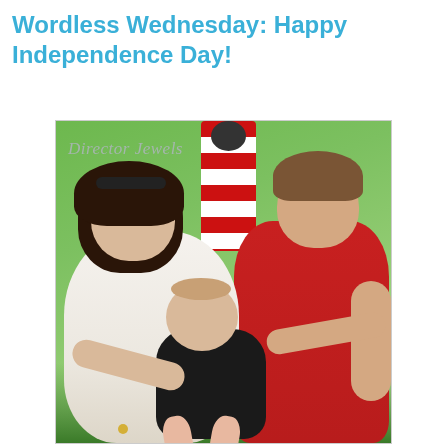Wordless Wednesday: Happy Independence Day!
[Figure (photo): Family photo of a woman, man, and baby posed outdoors on a green lawn. The woman has dark hair and wears a white tank top with red trim. The man wears a red t-shirt. The baby wears a black onesie. A red and white striped patriotic decoration is visible in the background. The photo has a 'Director Jewels' watermark in the upper left corner.]